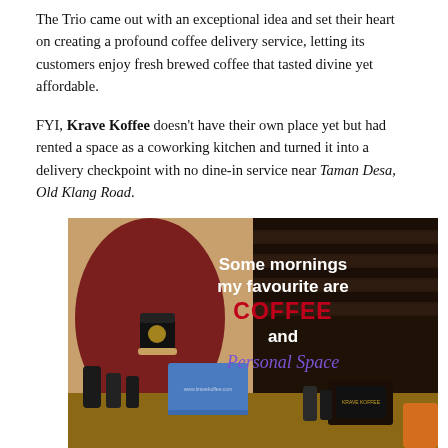The Trio came out with an exceptional idea and set their heart on creating a profound coffee delivery service, letting its customers enjoy fresh brewed coffee that tasted divine yet affordable.
FYI, Krave Koffee doesn't have their own place yet but had rented a space as a coworking kitchen and turned it into a delivery checkpoint with no dine-in service near Taman Desa, Old Klang Road.
[Figure (photo): A woman wearing a hijab and glasses holds a black Krave Koffee cup. Text overlay reads: 'Some mornings my favourite are COFFEE and Personal Space'. Coffee products are visible on a table in the foreground.]